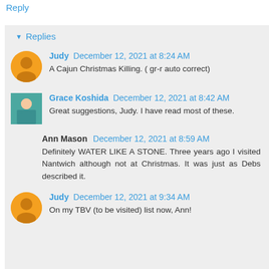Reply
Replies
Judy December 12, 2021 at 8:24 AM
A Cajun Christmas Killing. ( gr-r auto correct)
Grace Koshida December 12, 2021 at 8:42 AM
Great suggestions, Judy. I have read most of these.
Ann Mason December 12, 2021 at 8:59 AM
Definitely WATER LIKE A STONE. Three years ago I visited Nantwich although not at Christmas. It was just as Debs described it.
Judy December 12, 2021 at 9:34 AM
On my TBV (to be visited) list now, Ann!